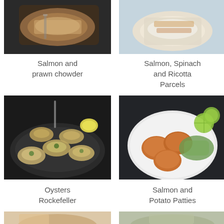[Figure (photo): Food photo of Salmon and prawn chowder in a bowl with a spoon on a dark background]
Salmon and prawn chowder
[Figure (photo): Food photo of Salmon, Spinach and Ricotta Parcels on a plate]
Salmon, Spinach and Ricotta Parcels
[Figure (photo): Food photo of Oysters Rockefeller on a dark round pan with lemon wedges]
Oysters Rockefeller
[Figure (photo): Food photo of Salmon and Potato Patties on a white plate with lime slices and salsa]
Salmon and Potato Patties
[Figure (photo): Partial food photo at bottom left, cropped]
[Figure (photo): Partial food photo at bottom right, cropped]